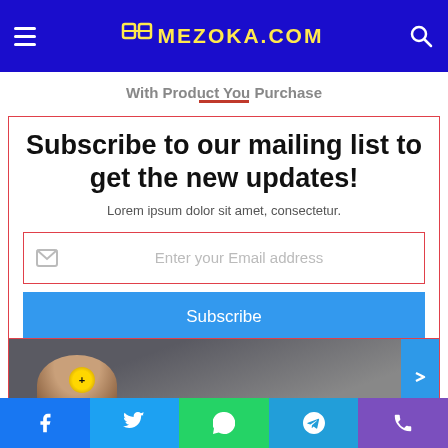MEZOKA.COM
With Product You Purchase
Subscribe to our mailing list to get the new updates!
Lorem ipsum dolor sit amet, consectetur.
Enter your Email address
Subscribe
[Figure (photo): Preview card with a person image and blue arrow button]
Social share bar: Facebook, Twitter, WhatsApp, Telegram, Phone